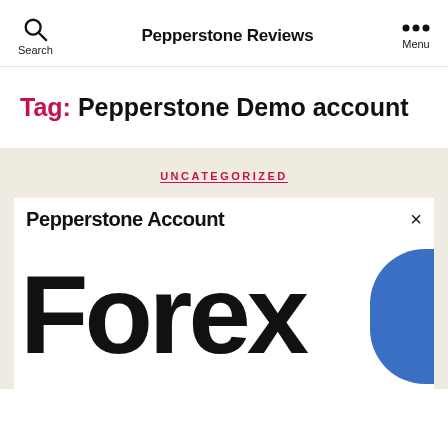Pepperstone Reviews
Tag: Pepperstone Demo account
UNCATEGORIZED
Pepperstone Account
[Figure (screenshot): Forex brand logo/banner showing large bold text 'Forex' with a blue circular element on the right, partially cropped]